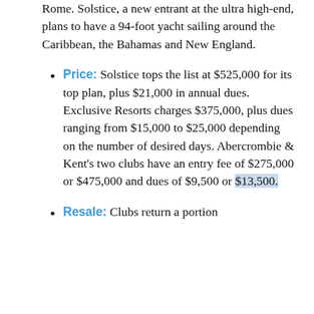Rome. Solstice, a new entrant at the ultra high-end, plans to have a 94-foot yacht sailing around the Caribbean, the Bahamas and New England.
Price: Solstice tops the list at $525,000 for its top plan, plus $21,000 in annual dues. Exclusive Resorts charges $375,000, plus dues ranging from $15,000 to $25,000 depending on the number of desired days. Abercrombie & Kent's two clubs have an entry fee of $275,000 or $475,000 and dues of $9,500 or $13,500.
Resale: Clubs return a portion